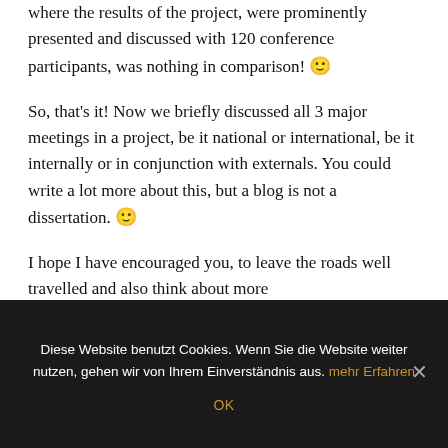this evening. The highly official final conference where the results of the project, were prominently presented and discussed with 120 conference participants, was nothing in comparison! 🙂
So, that's it! Now we briefly discussed all 3 major meetings in a project, be it national or international, be it internally or in conjunction with externals. You could write a lot more about this, but a blog is not a dissertation. 🙂
I hope I have encouraged you, to leave the roads well travelled and also think about more
Diese Website benutzt Cookies. Wenn Sie die Website weiter nutzen, gehen wir von Ihrem Einverständnis aus. mehr Erfahren OK